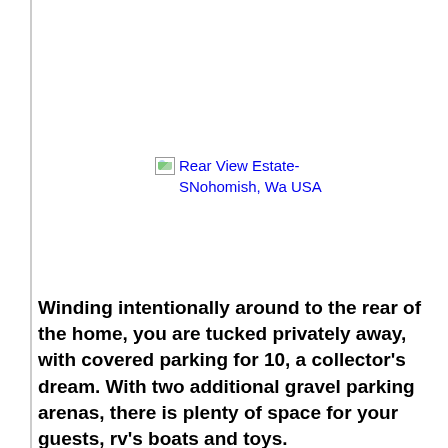[Figure (photo): Broken/unloaded image placeholder with alt text: Rear View Estate-SNohomish, Wa USA]
Winding intentionally around to the rear of the home, you are tucked privately away, with covered parking for 10, a collector's dream. With two additional gravel parking arenas, there is plenty of space for your guests, rv's boats and toys.